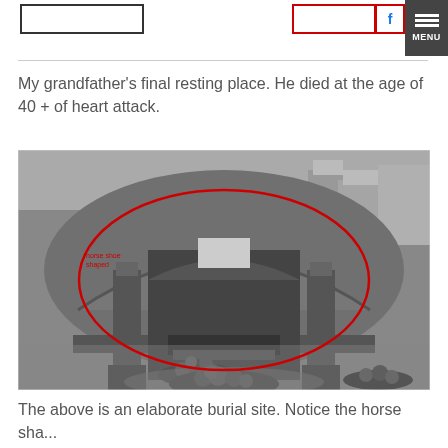[logo box] [facebook icon] MENU
My grandfather's final resting place. He died at the age of 40 + of heart attack.
[Figure (photo): Black and white photograph of an elaborate Chinese burial site with horseshoe-shaped tomb, stone altar with offerings including fruits and food, decorative pillars with carved reliefs, and Chinese inscriptions. A red circle annotation highlights the 'horse shoe shaped' area of the tomb.]
The above is an elaborate burial site. Notice the horse sha...